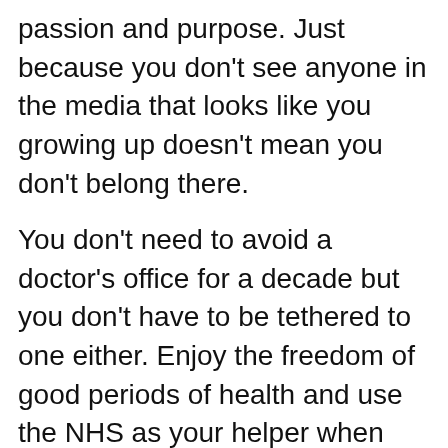passion and purpose. Just because you don't see anyone in the media that looks like you growing up doesn't mean you don't belong there.
You don't need to avoid a doctor's office for a decade but you don't have to be tethered to one either. Enjoy the freedom of good periods of health and use the NHS as your helper when the bad ones come.